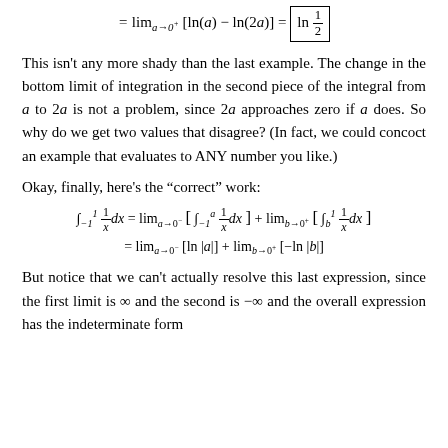This isn't any more shady than the last example. The change in the bottom limit of integration in the second piece of the integral from a to 2a is not a problem, since 2a approaches zero if a does. So why do we get two values that disagree? (In fact, we could concoct an example that evaluates to ANY number you like.)
Okay, finally, here's the “correct” work:
But notice that we can’t actually resolve this last expression, since the first limit is ∞ and the second is −∞ and the overall expression has the indeterminate form